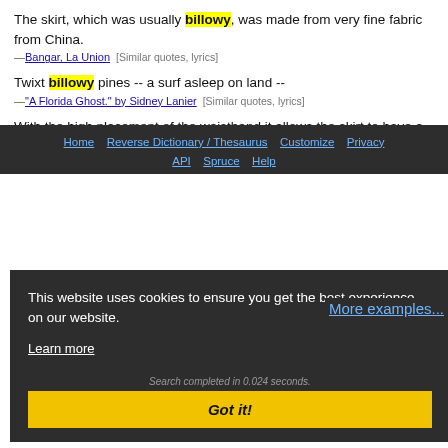The skirt, which was usually billowy, was made from very fine fabric from China.
—Bangar, La Union  [Similar quotes, lyrics]
Twixt billowy pines -- a surf asleep on land --
—"A Florida Ghost." by Sidney Lanier  [Similar quotes, lyrics]
With the high placement of the waistband it allows the skirt to have a more billowy look, which can give greater freedom of movement.
—Chima (clothing)  [Similar quotes, lyrics]
More examples...
This website uses cookies to ensure you get the best experience on our website.
Learn more
Search completed in 0.024 seconds.
Got it!
Home  Reverse Dictionary / Thesaurus  Customize  Privacy  API  Spruce  Help